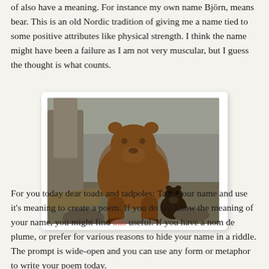of also have a meaning. For instance my own name Björn, means bear. This is an old Nordic tradition of giving me a name tied to some positive attributes like physical strength. I think the name might have been a failure as I am not very muscular, but I guess the thought is what counts.
[Figure (photo): A large brown bear walking toward the camera with a small bear cub behind it, in a rocky outdoor enclosure with tree roots and stone walls in the background.]
For you today dear toads and tadpoles: Take your name and use it's meaning to create a poem. If you do not know the meaning of your name, you might find this useful. If you have a nom de plume, or prefer for various reasons to hide your name in a riddle. The prompt is wide-open and you can use any form or metaphor to write your poem today.